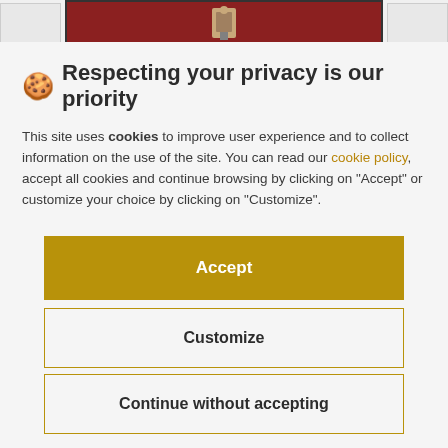[Figure (photo): Partial view of an image with a red background and a figure/object visible, shown at the top of the page behind the cookie consent overlay]
🍪 Respecting your privacy is our priority
This site uses cookies to improve user experience and to collect information on the use of the site. You can read our cookie policy, accept all cookies and continue browsing by clicking on "Accept" or customize your choice by clicking on "Customize".
Accept
Customize
Continue without accepting